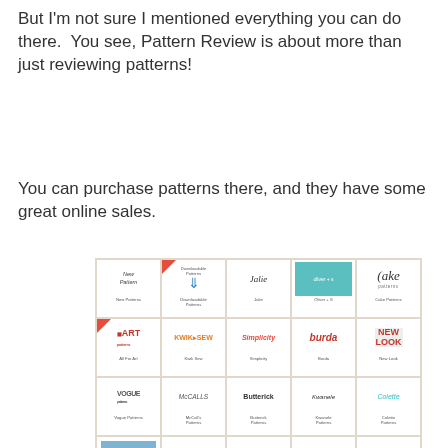But I'm not sure I mentioned everything you can do there.  You see, Pattern Review is about more than just reviewing patterns!
You can purchase patterns there, and they have some great online sales.
[Figure (screenshot): A grid of sewing pattern brand logos including New Patterns, Downloadable Patterns, Jalie, Oliver+S, Cake Patterns, All For Art, Kwik Sew, Simplicity, Burda, New Look, Vogue Patterns, McCall's Patterns, Butterick Patterns, Kwanele Patterns, Colette Patterns, Lazy Girl Designs, Petite Plus, Sew Baby, Sew Liberated, Christina Joanna Patterns, J. Stern Design, Smart Wash, Shapes, and more.]